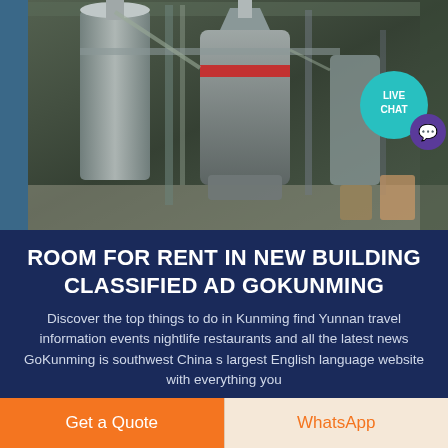[Figure (photo): Industrial machinery/mill equipment inside a warehouse or factory building. Large cylindrical grinding mill with pipes and structural steel visible. A 'LIVE CHAT' teal bubble and purple speech bubble icon overlay the top-right corner of the photo.]
ROOM FOR RENT IN NEW BUILDING CLASSIFIED AD GOKUNMING
Discover the top things to do in Kunming find Yunnan travel information events nightlife restaurants and all the latest news GoKunming is southwest China s largest English language website with everything you
Get a Quote
WhatsApp